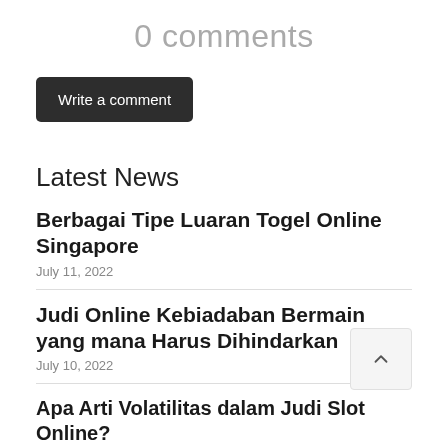0 comments
Write a comment
Latest News
Berbagai Tipe Luaran Togel Online Singapore
July 11, 2022
Judi Online Kebiadaban Bermain yang mana Harus Dihindarkan
July 10, 2022
Apa Arti Volatilitas dalam Judi Slot Online?